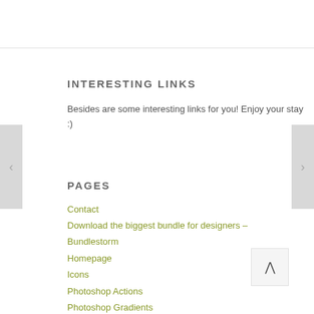INTERESTING LINKS
Besides are some interesting links for you! Enjoy your stay :)
PAGES
Contact
Download the biggest bundle for designers – Bundlestorm
Homepage
Icons
Photoshop Actions
Photoshop Gradients
PSD Files